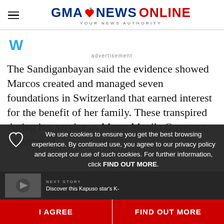GMA NEWS ONLINE — YOUR NEWS AUTHORITY
[Figure (logo): Weather widget icon (W)]
advertisement
The Sandiganbayan said the evidence showed Marcos created and managed seven foundations in Switzerland that earned interest for the benefit of her family. These transpired during her service as Metro Manila Governor, Minister of Human...
We use cookies to ensure you get the best browsing experience. By continued use, you agree to our privacy policy and accept our use of such cookies. For further information, click FIND OUT MORE.
I AGREE
FIND OUT MORE